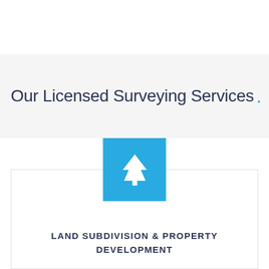Our Licensed Surveying Services.
[Figure (illustration): Blue square icon with white tree/pine symbol]
LAND SUBDIVISION & PROPERTY DEVELOPMENT